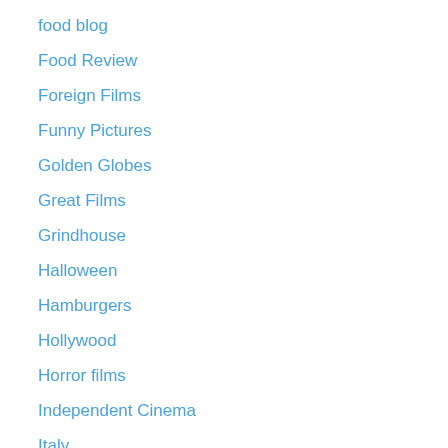food blog
Food Review
Foreign Films
Funny Pictures
Golden Globes
Great Films
Grindhouse
Halloween
Hamburgers
Hollywood
Horror films
Independent Cinema
Italy
James Caan
Japan
Japanese Sexploitation Movies
Jerseylicious!
Jo Nesbo / Nordic Noir
kelly clarkson
Led Zeppelin